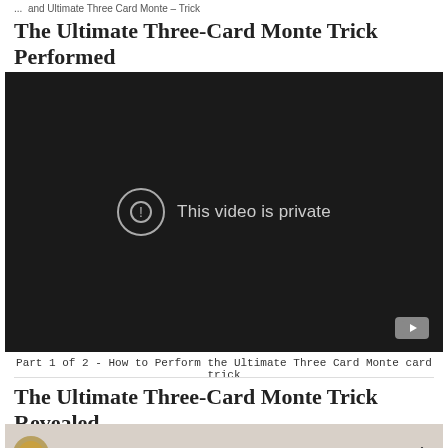... and Ultimate Three Card Monte – Trick
The Ultimate Three-Card Monte Trick Performed
[Figure (screenshot): Embedded video player with dark background showing 'This video is private' message with exclamation icon and YouTube button in bottom-right corner]
Part 1 of 2 - How to Perform the Ultimate Three Card Monte card trick
The Ultimate Three-Card Monte Trick Revealed
[Figure (screenshot): Partial view of a second video thumbnail showing 'Ulti Monte (Tutorial)' text with a decorative gold logo on a beige/grey background and a three-dot menu icon]